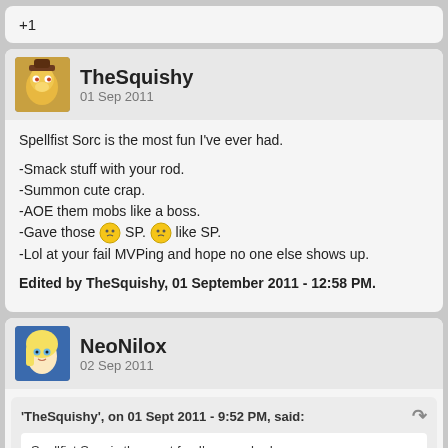+1
TheSquishy
01 Sep 2011
Spellfist Sorc is the most fun I've ever had.
-Smack stuff with your rod.
-Summon cute crap.
-AOE them mobs like a boss.
-Gave those SP. like SP.
-Lol at your fail MVPing and hope no one else shows up.
Edited by TheSquishy, 01 September 2011 - 12:58 PM.
NeoNilox
02 Sep 2011
'TheSquishy', on 01 Sept 2011 - 9:52 PM, said:
Spellfist Sorc is the most fun I've ever had.
-Smack stuff with your rod.
-Summon cute crap.